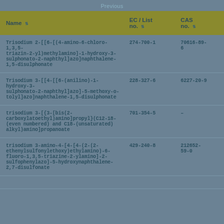Previous
| Name | EC / List no. | CAS no. |
| --- | --- | --- |
| Trisodium 2-[[6-[(4-amino-6-chloro-1,3,5-triazin-2-yl)methylamino]-1-hydroxy-3-sulphonato-2-naphthyl]azo]naphthalene-1,5-disulphonate | 274-700-1 | 70616-89-6 |
| Trisodium 3-[[4-[[6-(anilino)-1-hydroxy-3-sulphonato-2-naphthyl]azo]-5-methoxy-o-tolyl]azo]naphthalene-1,5-disulphonate | 228-327-6 | 6227-20-9 |
| trisodium 3-[{3-[bis(2-carboxylatoethyl)amino]propyl}(C12-18-(even numbered) and C18-(unsaturated) alkyl)amino]propanoate | 701-354-5 | - |
| trisodium 3-amino-4-[4-[4-(2-(2-ethenylsulfonylethoxy)ethylamino)-6-fluoro-1,3,5-triazine-2-ylamino]-2-sulfophenylazo]-5-hydroxynaphthalene-2,7-disulfonate | 429-240-8 | 212652-59-0 |
| … | … | … |